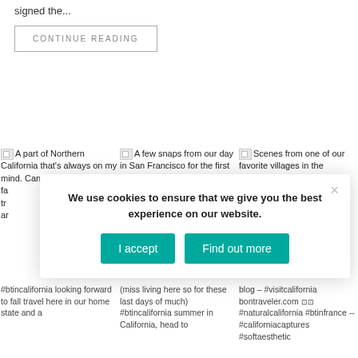signed the...
CONTINUE READING
[Figure (photo): Broken image placeholder for 'A part of Northern California that's always on my mind. Can't wait to get ba...']
[Figure (photo): Broken image placeholder for 'A few snaps from our day in San Francisco for the first time with...']
[Figure (photo): Broken image placeholder for 'Scenes from one of our favorite villages in the Dordogne — find the...']
#btincalifornia looking forward to fall travel here in our home state and a
(miss living here so for these last days of much) #btincalifornia summer in California, head to
blog – #visitcalifornia bontraveler.com #naturalcalifornia #btinfrance -- #californiacaptures #softaesthetic
We use cookies to ensure that we give you the best experience on our website.
I accept
Find out more